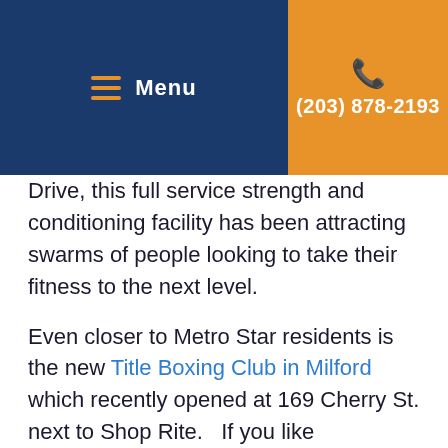Menu | (203) 878-2193
Drive, this full service strength and conditioning facility has been attracting swarms of people looking to take their fitness to the next level.
Even closer to Metro Star residents is the new Title Boxing Club in Milford which recently opened at 169 Cherry St. next to Shop Rite.   If you like kickboxing or have been dying to try a boxing workout, you will love this place!  “It’s an addicting workout